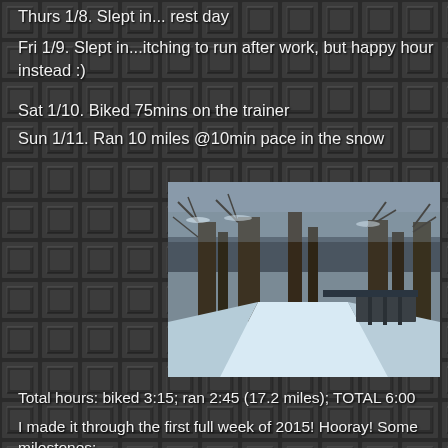Thurs 1/8. Slept in... rest day
Fri 1/9. Slept in...itching to run after work, but happy hour instead :)
Sat 1/10. Biked 75mins on the trainer
Sun 1/11. Ran 10 miles @10min pace in the snow
[Figure (photo): Snow-covered trail path through bare winter trees, with a wooden fence visible on the right side, photographed in overcast winter conditions]
Total hours: biked 3:15; ran 2:45 (17.2 miles); TOTAL 6:00
I made it through the first full week of 2015! Hooray! Some milestones: